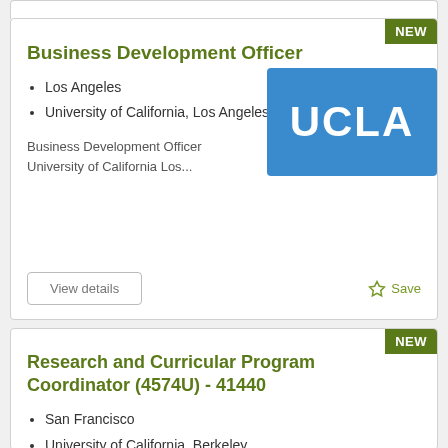Business Development Officer
Los Angeles
University of California, Los Angeles
[Figure (logo): UCLA logo — white text 'UCLA' on blue background]
Business Development Officer University of California Los...
View details
Save
Research and Curricular Program Coordinator (4574U) - 41440
San Francisco
University of California, Berkeley